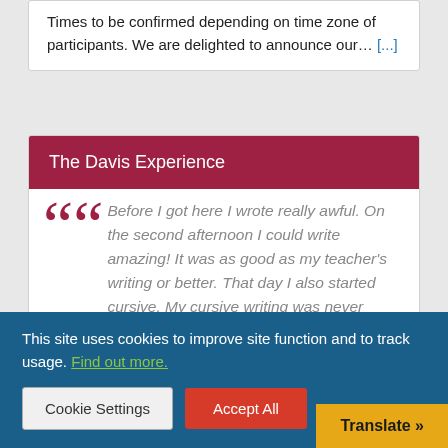Times to be confirmed depending on time zone of participants. We are delighted to announce our… [...]
The Davis Experience
Before I got here I wrote really awful. On the second afternoon I could write amazing! It was as good as my teacher's writing or better. That day I also started cursive. My cursive writing was never readable – two days later
This site uses cookies to improve site function and to track usage. Find out more.